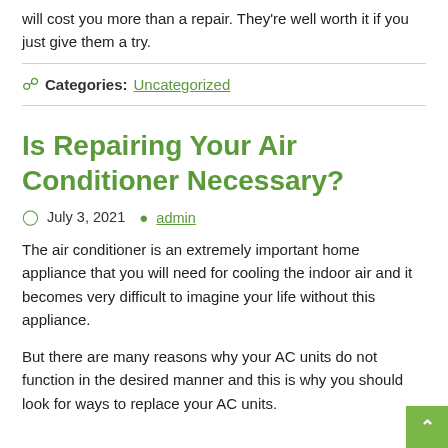will cost you more than a repair. They're well worth it if you just give them a try.
Categories: Uncategorized
Is Repairing Your Air Conditioner Necessary?
July 3, 2021  admin
The air conditioner is an extremely important home appliance that you will need for cooling the indoor air and it becomes very difficult to imagine your life without this appliance.
But there are many reasons why your AC units do not function in the desired manner and this is why you should look for ways to replace your AC units.